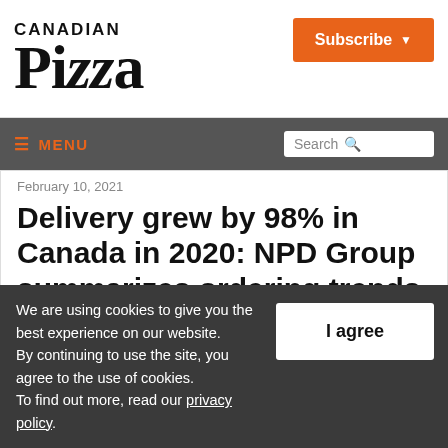Canadian Pizza | Subscribe
≡ MENU | Search
February 10, 2021
Delivery grew by 98% in Canada in 2020: NPD Group summarizes ordering trends
We are using cookies to give you the best experience on our website. By continuing to use the site, you agree to the use of cookies. To find out more, read our privacy policy.